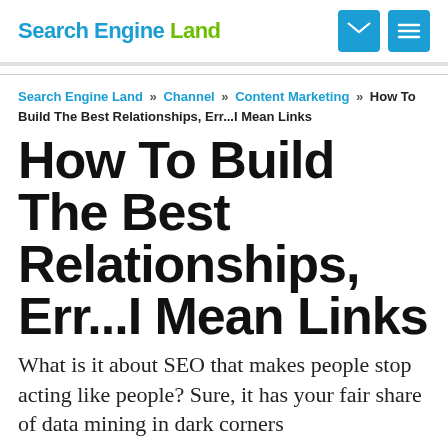Search Engine Land
Search Engine Land » Channel » Content Marketing » How To Build The Best Relationships, Err...I Mean Links
How To Build The Best Relationships, Err...I Mean Links
What is it about SEO that makes people stop acting like people? Sure, it has your fair share of data mining in dark corners